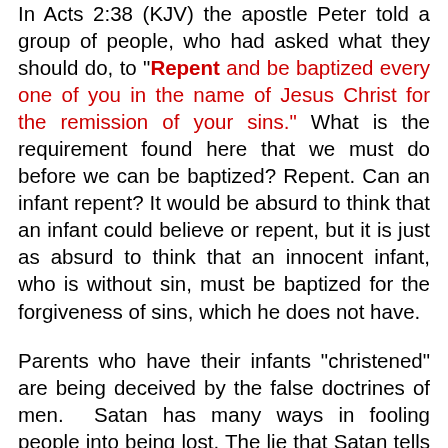In Acts 2:38 (KJV) the apostle Peter told a group of people, who had asked what they should do, to "Repent and be baptized every one of you in the name of Jesus Christ for the remission of your sins." What is the requirement found here that we must do before we can be baptized? Repent. Can an infant repent? It would be absurd to think that an infant could believe or repent, but it is just as absurd to think that an innocent infant, who is without sin, must be baptized for the forgiveness of sins, which he does not have.
Parents who have their infants "christened" are being deceived by the false doctrines of men. Satan has many ways in fooling people into being lost. The lie that Satan tells here to people who have become accountable is that since you were baptized as an infant, you do not need to be baptized for the remission of your sins now that you have become accountable and responsible.